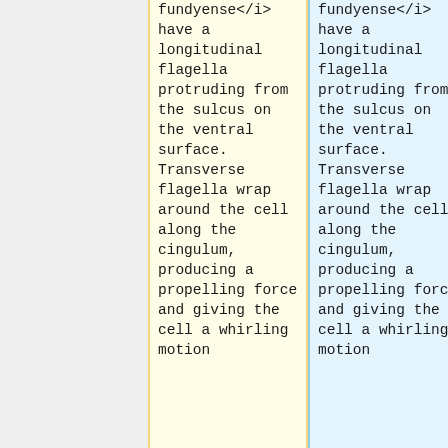fundyense</i> have a longitudinal flagella protruding from the sulcus on the ventral surface. Transverse flagella wrap around the cell along the cingulum, producing a propelling force and giving the cell a whirling motion
fundyense</i> have a longitudinal flagella protruding from the sulcus on the ventral surface. Transverse flagella wrap around the cell along the cingulum, producing a propelling force and giving the cell a whirling motion